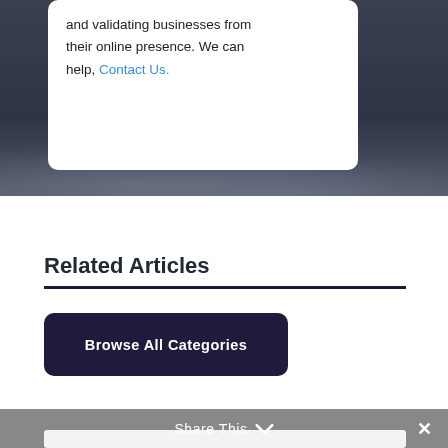[Figure (photo): Dark blue-grey textured background with a white rounded card overlay showing partial text about businesses and online presence with a 'Contact Us' link]
and validating businesses from their online presence. We can help, Contact Us.
Related Articles
Browse All Categories
Share This  ✕